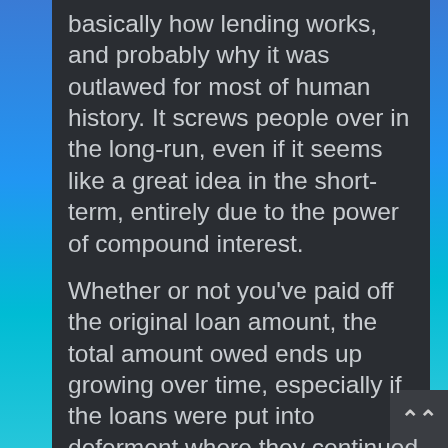basically how lending works, and probably why it was outlawed for most of human history. It screws people over in the long-run, even if it seems like a great idea in the short-term, entirely due to the power of compound interest.
Whether or not you've paid off the original loan amount, the total amount owed ends up growing over time, especially if the loans were put into deferment where they continued accumulating interest rapidly.
Sorry to hear about what you're facing because it's definitely not a great situation, and hopefully you can find a good solution for getting